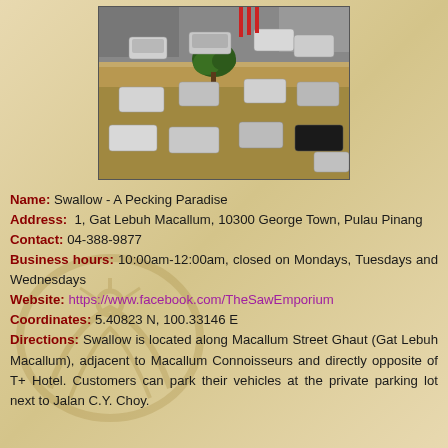[Figure (photo): Aerial view of a private parking lot showing multiple cars parked on a dirt/gravel surface with a tree in the center]
Name: Swallow - A Pecking Paradise
Address: 1, Gat Lebuh Macallum, 10300 George Town, Pulau Pinang
Contact: 04-388-9877
Business hours: 10:00am-12:00am, closed on Mondays, Tuesdays and Wednesdays
Website: https://www.facebook.com/TheSawEmporium
Coordinates: 5.40823 N, 100.33146 E
Directions: Swallow is located along Macallum Street Ghaut (Gat Lebuh Macallum), adjacent to Macallum Connoisseurs and directly opposite of T+ Hotel. Customers can park their vehicles at the private parking lot next to Jalan C.Y. Choy.